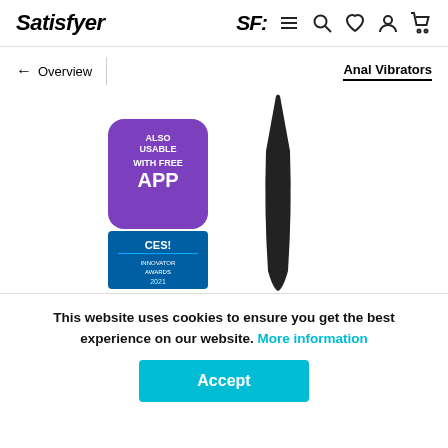Satisfyer — SF logo with menu, search, wishlist, account, cart icons
← Overview | Anal Vibrators
[Figure (photo): Product photo of a black anal vibrator with an 'Also Usable With Free App' purple badge and a CES 2021 Innovator Award badge]
This website uses cookies to ensure you get the best experience on our website. More information
Accept